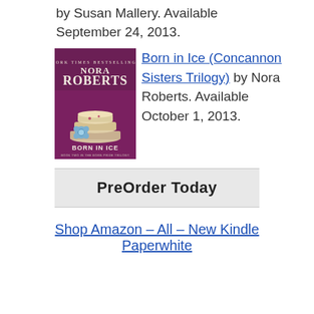by Susan Mallery. Available September 24, 2013.
[Figure (illustration): Book cover of 'Born in Ice' by Nora Roberts — part of the Concannon Sisters Trilogy. Purple/maroon background with stacked teacups and a blue flower brooch. Author name 'Nora Roberts' in large letters at top.]
Born in Ice (Concannon Sisters Trilogy) by Nora Roberts. Available October 1, 2013.
PreOrder Today
Shop Amazon – All – New Kindle Paperwhite